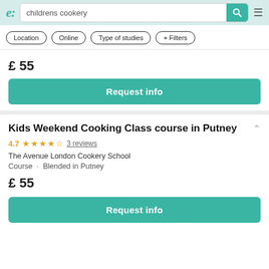e: childrens cookery [search]
Location · Online · Type of studies · + Filters
£ 55
Request info
Kids Weekend Cooking Class course in Putney
4.7 ★★★★½ 3 reviews
The Avenue London Cookery School
Course · Blended in Putney
£ 55
Request info